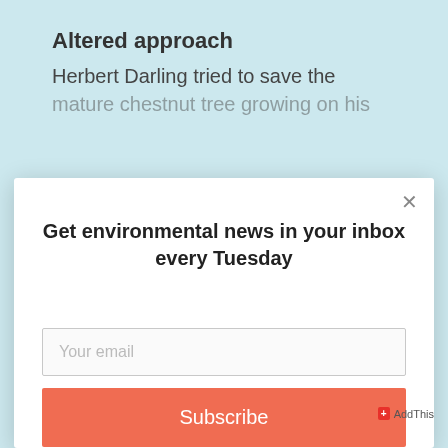Altered approach
Herbert Darling tried to save the mature chestnut tree growing on his
[Figure (screenshot): Email newsletter subscription modal popup with title 'Get environmental news in your inbox every Tuesday', an email input field with placeholder 'Your email', and a coral/red 'Subscribe' button. A close (×) button is in the top right corner.]
blight years later — Darling turned to
+ AddThis